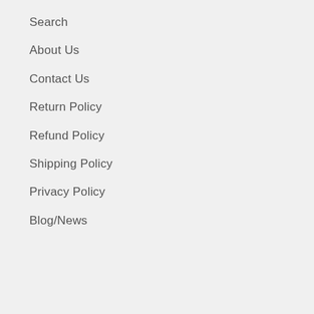Search
About Us
Contact Us
Return Policy
Refund Policy
Shipping Policy
Privacy Policy
Blog/News